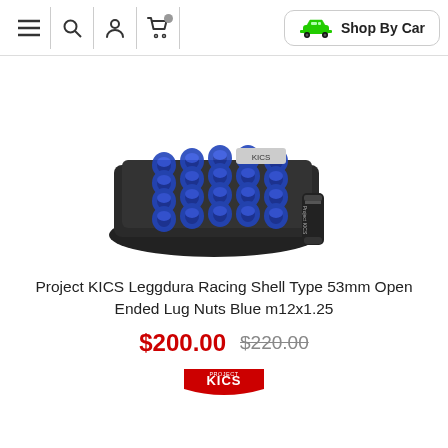Navigation bar with menu, search, account, cart icons and Shop By Car button
[Figure (photo): Product photo of Project KICS Leggdura Racing Shell Type 53mm Open Ended Lug Nuts in blue, set of 20 arranged on a black display tray with a black socket tool beside it]
Project KICS Leggdura Racing Shell Type 53mm Open Ended Lug Nuts Blue m12x1.25
$200.00  $220.00
[Figure (logo): Project KICS brand logo in red and white]